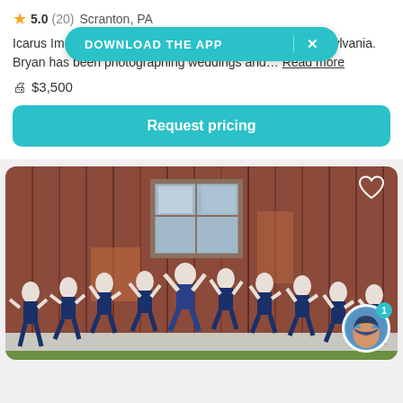5.0 (20)  Scranton, PA
DOWNLOAD THE APP  ×
Icarus Im… based in Scranton, Pennsylvania. Bryan has been photographing weddings and… Read more
$3,500
Request pricing
[Figure (photo): Group of groomsmen in white shirts and navy pants jumping in front of a rustic red barn]